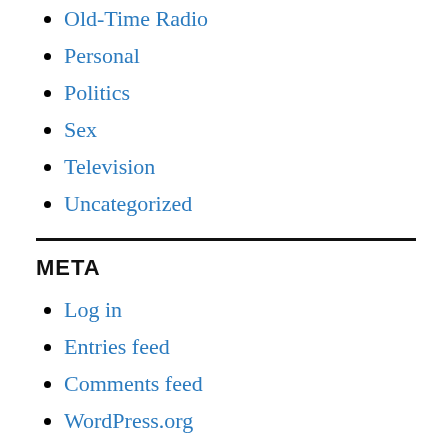Old-Time Radio
Personal
Politics
Sex
Television
Uncategorized
META
Log in
Entries feed
Comments feed
WordPress.org